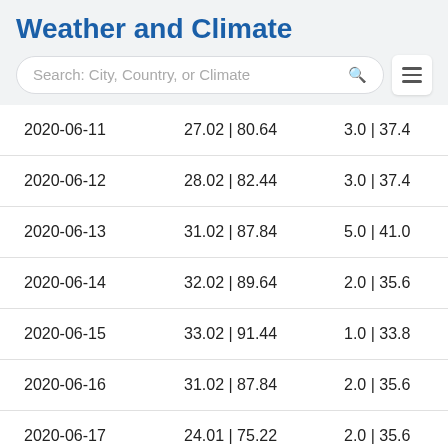Weather and Climate
| Date | Temp °C | °F | Wind m/s | km/h |  |
| --- | --- | --- | --- |
| 2020-06-11 | 27.02 | 80.64 | 3.0 | 37.4 | 2 |
| 2020-06-12 | 28.02 | 82.44 | 3.0 | 37.4 | 2 |
| 2020-06-13 | 31.02 | 87.84 | 5.0 | 41.0 | 2 |
| 2020-06-14 | 32.02 | 89.64 | 2.0 | 35.6 | 1 |
| 2020-06-15 | 33.02 | 91.44 | 1.0 | 33.8 | 1 |
| 2020-06-16 | 31.02 | 87.84 | 2.0 | 35.6 | 1 |
| 2020-06-17 | 24.01 | 75.22 | 2.0 | 35.6 | 2 |